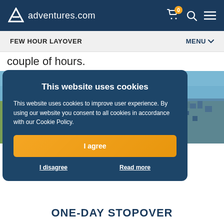adventures.com
FEW HOUR LAYOVER   MENU
couple of hours.
[Figure (photo): Aerial view of an airport and surrounding coastal city]
This website uses cookies
This website uses cookies to improve user experience. By using our website you consent to all cookies in accordance with our Cookie Policy.
I agree
I disagree   Read more
ONE-DAY STOPOVER